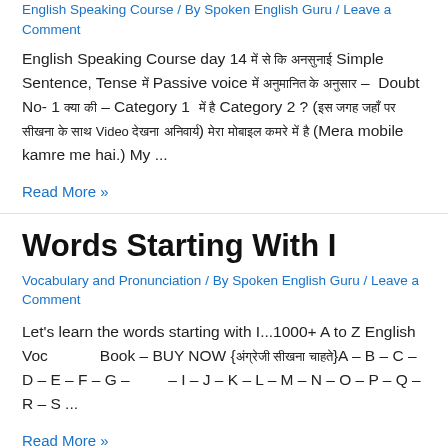English Speaking Course / By Spoken English Guru / Leave a Comment
English Speaking Course day 14 [Hindi text] Simple Sentence, Tense [Hindi] Passive voice [Hindi text] – Doubt No- 1 [Hindi] – Category 1 [Hindi] Category 2 ? ([Hindi text] Video [Hindi text]) [Hindi text] (Mera mobile kamre me hai.) My ...
Read More »
Words Starting With I
Vocabulary and Pronunciation / By Spoken English Guru / Leave a Comment
Let's learn the words starting with I...1000+ A to Z English Vocabulary Book – BUY NOW {[Hindi text]}A – B – C – D – E – F – G – I – J – K – L – M – N – O – P – Q – R – S ...
Read More »